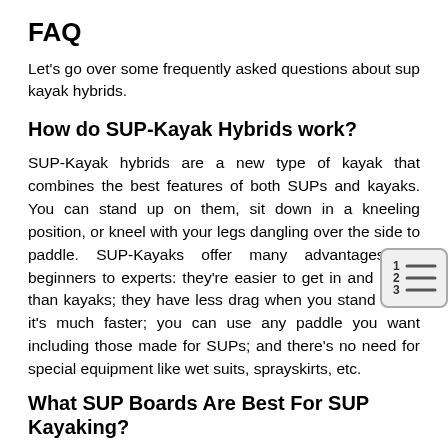FAQ
Let's go over some frequently asked questions about sup kayak hybrids.
How do SUP-Kayak Hybrids work?
SUP-Kayak hybrids are a new type of kayak that combines the best features of both SUPs and kayaks. You can stand up on them, sit down in a kneeling position, or kneel with your legs dangling over the side to paddle. SUP-Kayaks offer many advantages for beginners to experts: they're easier to get in and out of than kayaks; they have less drag when you stand up so it's much faster; you can use any paddle you want including those made for SUPs; and there's no need for special equipment like wet suits, sprayskirts, etc.
What SUP Boards Are Best For SUP Kayaking?